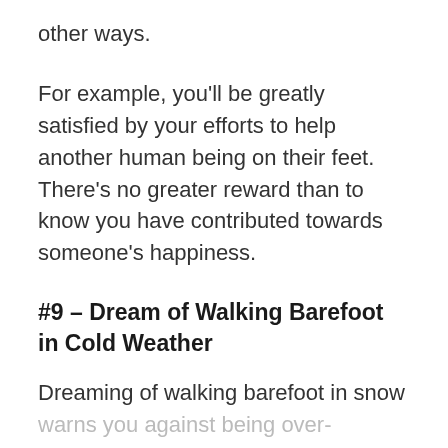other ways.
For example, you'll be greatly satisfied by your efforts to help another human being on their feet. There's no greater reward than to know you have contributed towards someone's happiness.
#9 – Dream of Walking Barefoot in Cold Weather
Dreaming of walking barefoot in snow warns you against being over-confident or arrogant. You should handle other